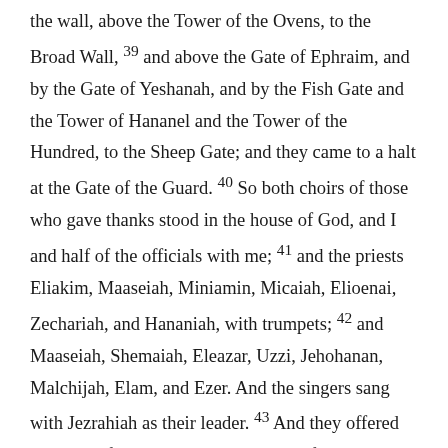the wall, above the Tower of the Ovens, to the Broad Wall, 39 and above the Gate of Ephraim, and by the Gate of Yeshanah, and by the Fish Gate and the Tower of Hananel and the Tower of the Hundred, to the Sheep Gate; and they came to a halt at the Gate of the Guard. 40 So both choirs of those who gave thanks stood in the house of God, and I and half of the officials with me; 41 and the priests Eliakim, Maaseiah, Miniamin, Micaiah, Elioenai, Zechariah, and Hananiah, with trumpets; 42 and Maaseiah, Shemaiah, Eleazar, Uzzi, Jehohanan, Malchijah, Elam, and Ezer. And the singers sang with Jezrahiah as their leader. 43 And they offered great sacrifices that day and rejoiced, for God had made them rejoice with great joy; the women and children also